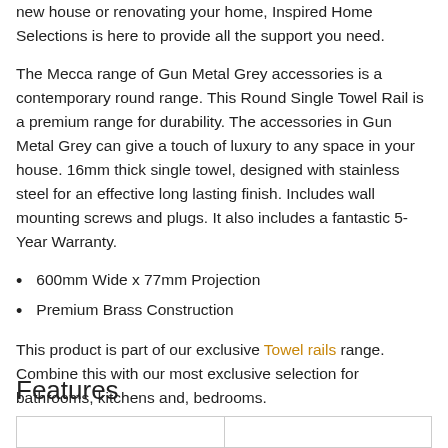new house or renovating your home, Inspired Home Selections is here to provide all the support you need.
The Mecca range of Gun Metal Grey accessories is a contemporary round range. This Round Single Towel Rail is a premium range for durability. The accessories in Gun Metal Grey can give a touch of luxury to any space in your house. 16mm thick single towel, designed with stainless steel for an effective long lasting finish. Includes wall mounting screws and plugs. It also includes a fantastic 5-Year Warranty.
600mm Wide x 77mm Projection
Premium Brass Construction
This product is part of our exclusive Towel rails range. Combine this with our most exclusive selection for bathrooms, kitchens and, bedrooms.
Features
|  |  |